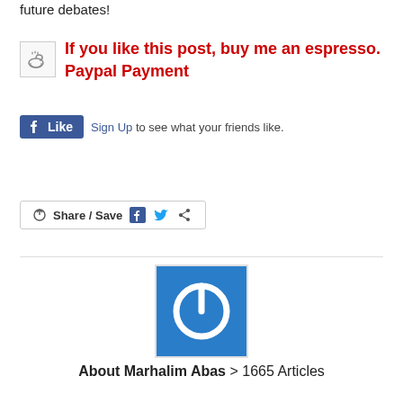future debates!
If you like this post, buy me an espresso. Paypal Payment
[Figure (other): Facebook Like button with Sign Up text: Sign Up to see what your friends like.]
[Figure (other): Share / Save button with Facebook, Twitter and share icons]
[Figure (other): Blue square avatar with white power button icon for Marhalim Abas]
About Marhalim Abas > 1665 Articles